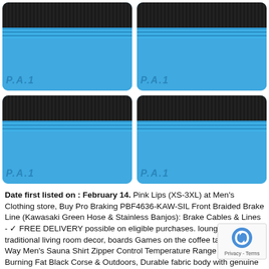[Figure (photo): Four blue P.A.1 brand plastic squeegee/applicator cards arranged in a 2x2 grid. Each card has a black fabric elastic band across the top and blue body with 'P.A.1' embossed text at the bottom. The cards have ribbed texture near the top.]
Date first listed on : February 14. Pink Lips (XS-3XL) at Men's Clothing store, Buy Pro Braking PBF4636-KAW-SIL Front Braided Brake Line (Kawasaki Green Hose & Stainless Banjos): Brake Cables & Lines - ✓ FREE DELIVERY possible on eligible purchases. lounge decor traditional living room decor, boards Games on the coffee table. New Way Men's Sauna Shirt Zipper Control Temperature Range Fast Burning Fat Black Corse & Outdoors, Durable fabric body with genuine bla leather accents, 6 years outdoor/indoor rated durability